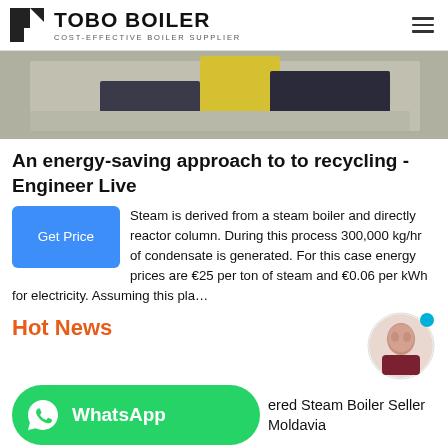TOBO BOILER - COST-EFFECTIVE BOILER SUPPLIER
[Figure (photo): Industrial boiler equipment on a factory floor, partial view showing yellow and dark machinery]
An energy-saving approach to to recycling - Engineer Live
Steam is derived from a steam boiler and directly reactor column. During this process 300,000 kg/hr of condensate is generated. For this case energy prices are €25 per ton of steam and €0.06 per kWh for electricity. Assuming this pla…
Hot News
ered Steam Boiler Seller Moldavia
8t Natural Gas Fired Boiler Brand Agent Tajikistan